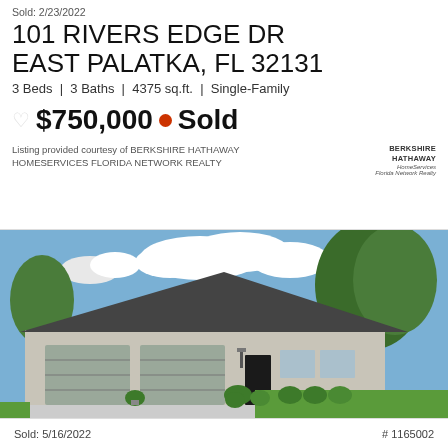Sold: 2/23/2022
101 RIVERS EDGE DR
EAST PALATKA, FL 32131
3 Beds | 3 Baths | 4375 sq.ft. | Single-Family
$750,000 • Sold
Listing provided courtesy of BERKSHIRE HATHAWAY HOMESERVICES FLORIDA NETWORK REALTY
[Figure (photo): Exterior photo of single-family home at 101 Rivers Edge Dr, East Palatka FL. Shows a one-story house with dark gray roof, two-car garage, white/gray exterior, green lawn, and large trees.]
Sold: 5/16/2022    # 1165002